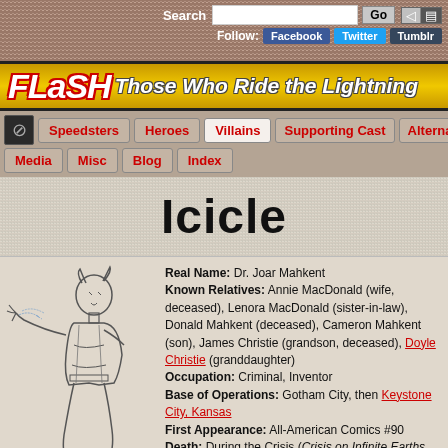Search  Go  Follow: Facebook Twitter Tumblr
[Figure (illustration): Flash: Those Who Ride the Lightning banner logo with yellow gradient background]
Speedsters | Heroes | Villains | Supporting Cast | Alternate | Media | Misc | Blog | Index
Icicle
[Figure (illustration): Black and white comic illustration of Icicle villain character in action pose]
Real Name: Dr. Joar Mahkent Known Relatives: Annie MacDonald (wife, deceased), Lenora MacDonald (sister-in-law), Donald Mahkent (deceased), Cameron Mahkent (son), James Christie (grandson, deceased), Doyle Christie (granddaughter) Occupation: Criminal, Inventor Base of Operations: Gotham City, then Keystone City, Kansas First Appearance: All-American Comics #90 Death: During the Crisis (Crisis on Infinite Earths #10, January 1986)